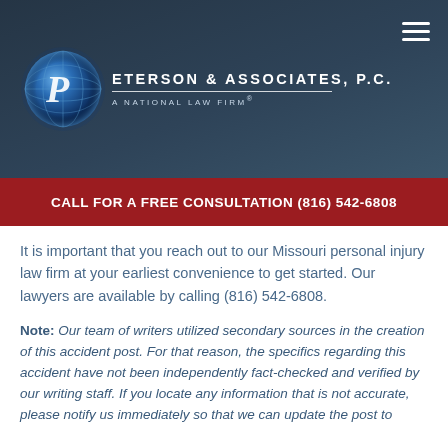[Figure (logo): Peterson & Associates, P.C. law firm logo with globe graphic on dark blue/grey gradient header background, with hamburger menu icon in top right]
CALL FOR A FREE CONSULTATION (816) 542-6808
It is important that you reach out to our Missouri personal injury law firm at your earliest convenience to get started. Our lawyers are available by calling (816) 542-6808.
Note: Our team of writers utilized secondary sources in the creation of this accident post. For that reason, the specifics regarding this accident have not been independently fact-checked and verified by our writing staff. If you locate any information that is not accurate, please notify us immediately so that we can update the post to